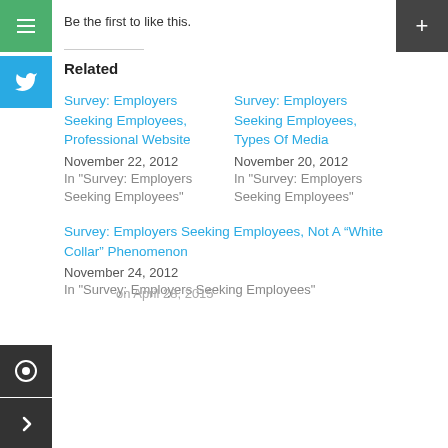Be the first to like this.
Related
Survey: Employers Seeking Employees, Professional Website
November 22, 2012
In "Survey: Employers Seeking Employees"
Survey: Employers Seeking Employees, Types Of Media
November 20, 2012
In "Survey: Employers Seeking Employees"
Survey: Employers Seeking Employees, Not A “White Collar” Phenomenon
November 24, 2012
In "Survey: Employers Seeking Employees"
on April 28, 2015